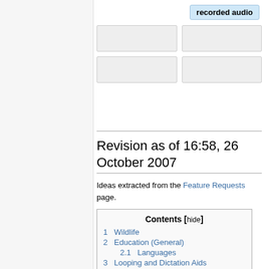[Figure (other): Top-right area with 'recorded audio' button and placeholder image boxes]
Revision as of 16:58, 26 October 2007
Ideas extracted from the Feature Requests page.
| Contents [hide] |
| 1  Wildlife |
| 2  Education (General) |
| 2.1  Languages |
| 3  Looping and Dictation Aids |
| 4  "Books on tape", field recordings, etc. |
| 5  Theatre |
| 6  Recording from cassettes |
| 6.1  Azimuth Setter |
| 6.2  Other features |
Wildlife